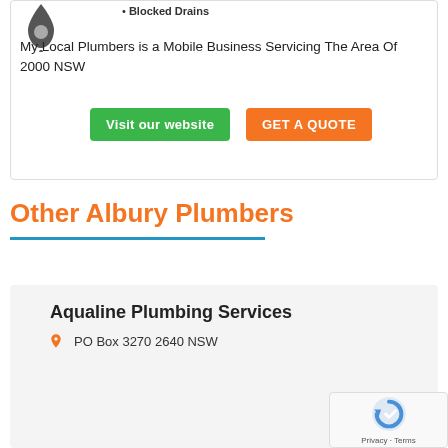Blocked Drains
[Figure (logo): Plumber business logo icon - dark droplet/wrench shape]
My Local Plumbers is a Mobile Business Servicing The Area Of 2000 NSW
Visit our website
GET A QUOTE
Other Albury Plumbers
Aqualine Plumbing Services
PO Box 3270 2640 NSW
[Figure (logo): reCAPTCHA logo and Privacy - Terms text]